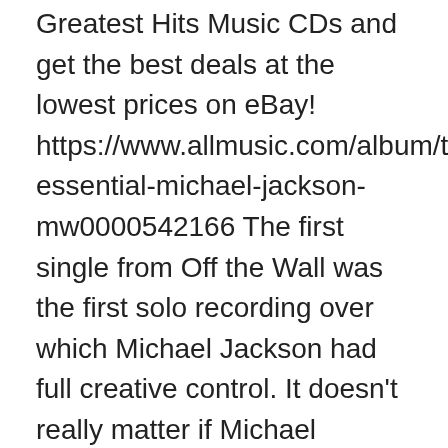Greatest Hits Music CDs and get the best deals at the lowest prices on eBay! https://www.allmusic.com/album/the-essential-michael-jackson-mw0000542166 The first single from Off the Wall was the first solo recording over which Michael Jackson had full creative control. It doesn't really matter if Michael Jackson bullied the world's media into calling him the King of Pop in the early 1990s or … 18 Greatest Hits is a compilation album by American recording artist Michael Jackson, credited to Michael Jackson and the Jackson 5.Released solely in the United Kingdom, it became Jackson's second number one on the UK Albums Chart (right behind Thriller),